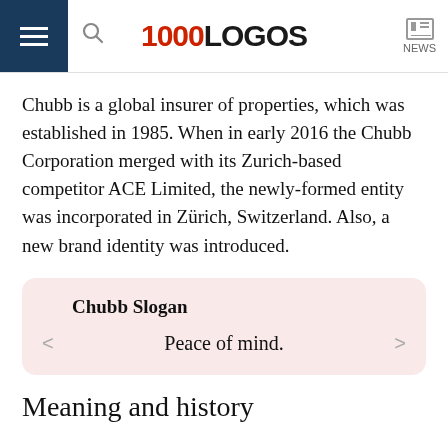1000LOGOS NEWS
Chubb is a global insurer of properties, which was established in 1985. When in early 2016 the Chubb Corporation merged with its Zurich-based competitor ACE Limited, the newly-formed entity was incorporated in Zürich, Switzerland. Also, a new brand identity was introduced.
Chubb Slogan
Peace of mind.
Meaning and history